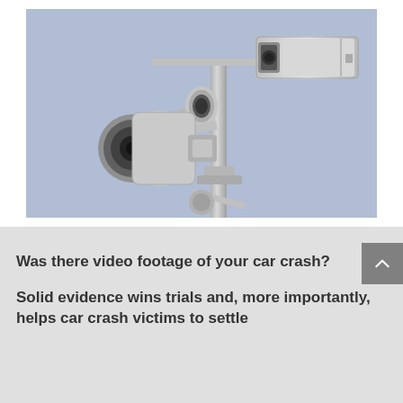[Figure (photo): Traffic surveillance cameras mounted on a pole against a blue-gray sky. Multiple white security/traffic cameras are visible, including two large units and a smaller cylindrical one.]
Was there video footage of your car crash?
Solid evidence wins trials and, more importantly, helps car crash victims to settle